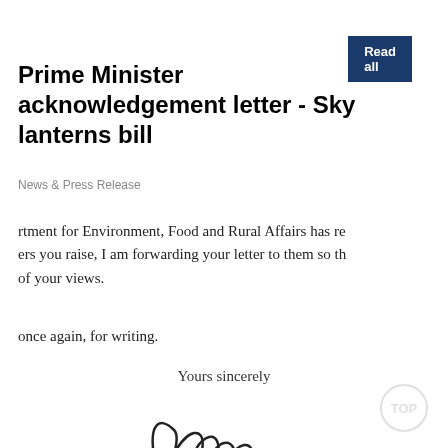Read all
Prime Minister acknowledgement letter - Sky lanterns bill
News & Press Release
rtment for Environment, Food and Rural Affairs has re ers you raise, I am forwarding your letter to them so th of your views.
once again, for writing.
Yours sincerely
[Figure (illustration): Handwritten signature]